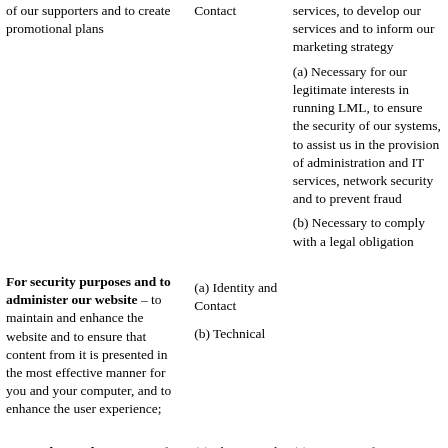| Purpose/Activity | Type of data | Lawful basis for processing |
| --- | --- | --- |
| of our supporters and to create promotional plans | Contact | services, to develop our services and to inform our marketing strategy
(a) Necessary for our legitimate interests in running LML, to ensure the security of our systems, to assist us in the provision of administration and IT services, network security and to prevent fraud
(b) Necessary to comply with a legal obligation |
| For security purposes and to administer our website – to maintain and enhance the website and to ensure that content from it is presented in the most effective manner for you and your computer, and to enhance the user experience; | (a) Identity and Contact
(b) Technical |  |
| Internal record purposes – for monitoring and record keeping including | (a) Identity and Contact
(b) Financial | (a) Necessary for our legitimate interests in running LML efficiently and successfully and in |